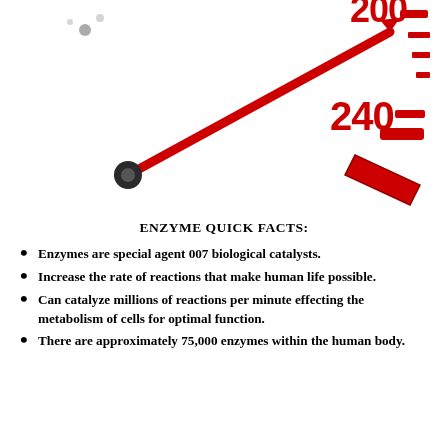[Figure (illustration): Partial speedometer graphic showing red needle pointing between 200 and 240, with red tick marks and red bold numbers 200 and 240 on the right side of the dial. The needle extends from lower-left to upper-right. Background is white.]
ENZYME QUICK FACTS:
Enzymes are special agent 007 biological catalysts.
Increase the rate of reactions that make human life possible.
Can catalyze millions of reactions per minute effecting the metabolism of cells for optimal function.
There are approximately 75,000 enzymes within the human body.